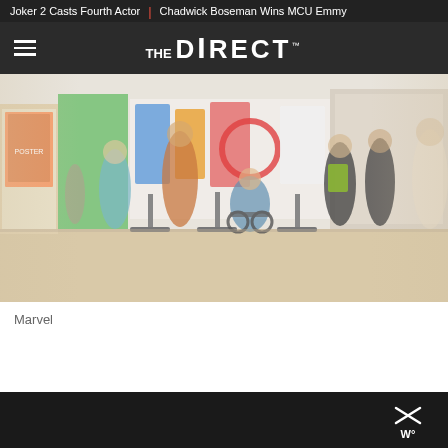Joker 2 Casts Fourth Actor | Chadwick Boseman Wins MCU Emmy
THE DIRECT
[Figure (photo): Indoor scene showing people in a bright public space or museum with a wooden floor. Various figures including someone in a wheelchair, people walking, and colorful artwork/displays in the background.]
Marvel